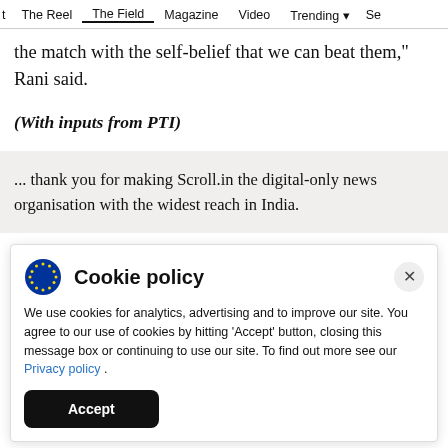t  The Reel  The Field  Magazine  Video  Trending  Se
the match with the self-belief that we can beat them," Rani said.
(With inputs from PTI)
... thank you for making Scroll.in the digital-only news organisation with the widest reach in India.
Cookie policy
We use cookies for analytics, advertising and to improve our site. You agree to our use of cookies by hitting 'Accept' button, closing this message box or continuing to use our site. To find out more see our Privacy policy .
Accept